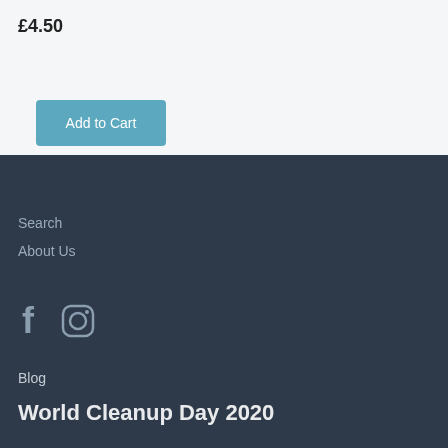£4.50
Add to Cart
Search
About Us
[Figure (illustration): Facebook and Instagram social media icons in grey]
Blog
World Cleanup Day 2020